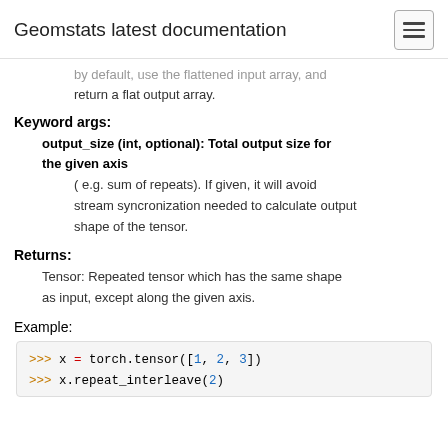Geomstats latest documentation
by default, use the flattened input array, and return a flat output array.
Keyword args:
output_size (int, optional): Total output size for the given axis
( e.g. sum of repeats). If given, it will avoid stream syncronization needed to calculate output shape of the tensor.
Returns:
Tensor: Repeated tensor which has the same shape as input, except along the given axis.
Example:
>>> x = torch.tensor([1, 2, 3])
>>> x.repeat_interleave(2)